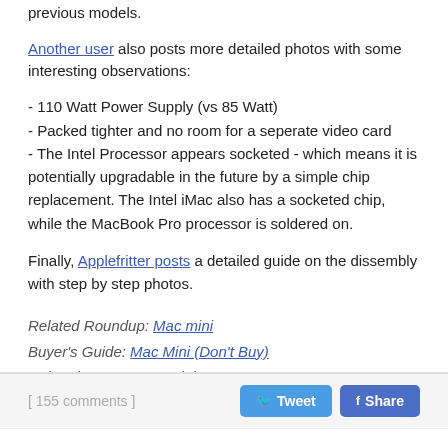previous models.
Another user also posts more detailed photos with some interesting observations:
- 110 Watt Power Supply (vs 85 Watt)
- Packed tighter and no room for a seperate video card
- The Intel Processor appears socketed - which means it is potentially upgradable in the future by a simple chip replacement. The Intel iMac also has a socketed chip, while the MacBook Pro processor is soldered on.
Finally, Applefritter posts a detailed guide on the dissembly with step by step photos.
Related Roundup: Mac mini
Buyer's Guide: Mac Mini (Don't Buy)
Related Forum: Mac mini
[ 155 comments ]
Tweet  Share